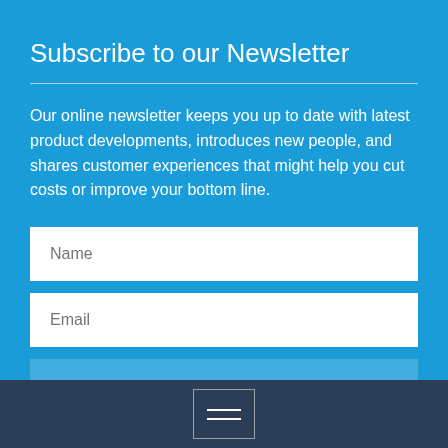Subscribe to our Newsletter
Our online newsletter keeps you up to date with latest product developments, introduces new people, and shares customer experiences that might help you cut costs or improve your bottom line.
[Figure (other): Newsletter subscription form with Name input field, Email input field, and Send button on a blue background]
[Figure (other): Hamburger menu icon (three horizontal lines) in a bordered box on a dark navy background]